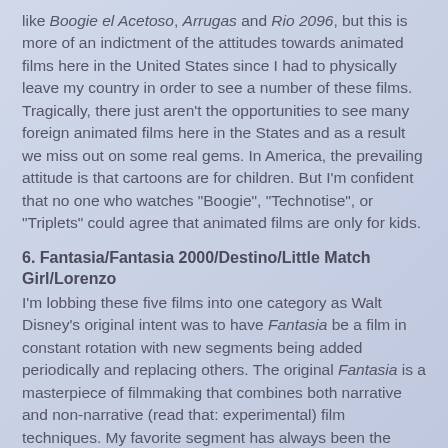like Boogie el Acetoso, Arrugas and Rio 2096, but this is more of an indictment of the attitudes towards animated films here in the United States since I had to physically leave my country in order to see a number of these films. Tragically, there just aren't the opportunities to see many foreign animated films here in the States and as a result we miss out on some real gems. In America, the prevailing attitude is that cartoons are for children. But I'm confident that no one who watches "Boogie", "Technotise", or "Triplets" could agree that animated films are only for kids.
6. Fantasia/Fantasia 2000/Destino/Little Match Girl/Lorenzo
I'm lobbing these five films into one category as Walt Disney's original intent was to have Fantasia be a film in constant rotation with new segments being added periodically and replacing others. The original Fantasia is a masterpiece of filmmaking that combines both narrative and non-narrative (read that: experimental) film techniques. My favorite segment has always been the dancing mushrooms-- though the dinosaur scene was always a close second. Fantasia was one of the first Disney movies that I can